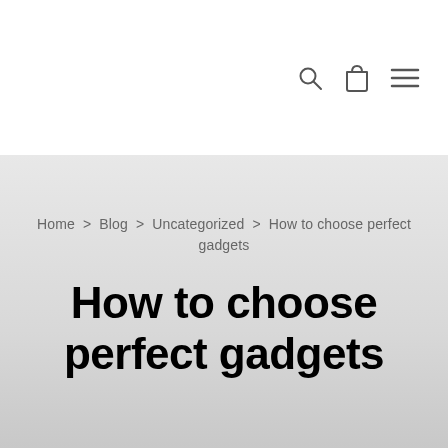[Figure (other): Navigation bar with search icon, shopping bag icon, and hamburger menu icon on white background]
Home > Blog > Uncategorized > How to choose perfect gadgets
How to choose perfect gadgets